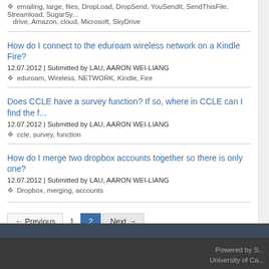emailing, large, files, DropLoad, DropSend, YouSendIt, SendThisFile, Streamload, SugarSy... drive, Amazon, cloud, Microsoft, SkyDrive
How do I connect to the eduroam wireless network on a Kindle Fire?
12.07.2012 | Submitted by LAU, AARON WEI-LIANG
eduroam, Wireless, NETWORK, Kindle, Fire
Does CCLE have a survey function? If so, where in CCLE can I find the f...
12.07.2012 | Submitted by LAU, AARON WEI-LIANG
ccle, survey, function
How do I merge two dropbox accounts together so there is only one?
12.07.2012 | Submitted by LAU, AARON WEI-LIANG
Dropbox, merging, accounts
← Previous  1  2  Next →
Powered by S... University of Ca...